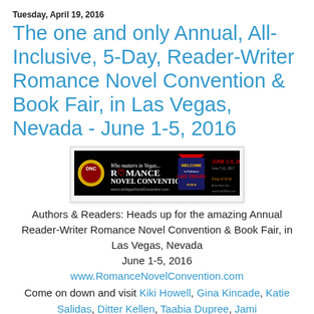Tuesday, April 19, 2016
The one and only Annual, All-Inclusive, 5-Day, Reader-Writer Romance Novel Convention & Book Fair, in Las Vegas, Nevada - June 1-5, 2016
[Figure (photo): Banner advertisement for Romance Novel Convention in Las Vegas, June 1-5, 2016, on black background with logo and Las Vegas sign imagery]
Authors & Readers: Heads up for the amazing Annual Reader-Writer Romance Novel Convention & Book Fair, in Las Vegas, Nevada June 1-5, 2016
www.RomanceNovelConvention.com
Come on down and visit Kiki Howell, Gina Kincade, Katie Salidas, Ditter Kellen, Taabia Dupree, Jami